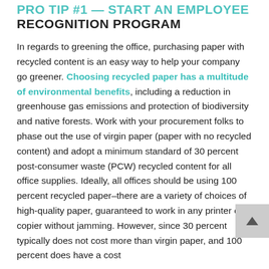PRO TIP #1 — START AN EMPLOYEE RECOGNITION PROGRAM
In regards to greening the office, purchasing paper with recycled content is an easy way to help your company go greener. Choosing recycled paper has a multitude of environmental benefits, including a reduction in greenhouse gas emissions and protection of biodiversity and native forests. Work with your procurement folks to phase out the use of virgin paper (paper with no recycled content) and adopt a minimum standard of 30 percent post-consumer waste (PCW) recycled content for all office supplies. Ideally, all offices should be using 100 percent recycled paper–there are a variety of choices of high-quality paper, guaranteed to work in any printer or copier without jamming. However, since 30 percent typically does not cost more than virgin paper, and 100 percent does have a cost